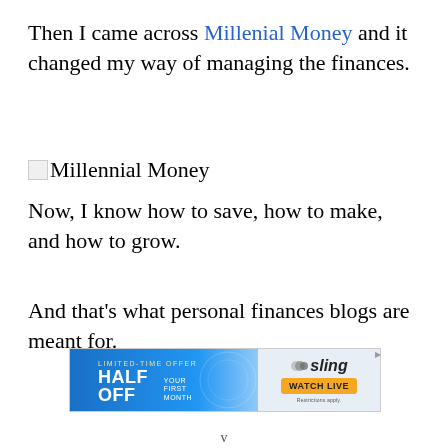Then I came across Millenial Money and it changed my way of managing the finances.
[Figure (other): Broken image placeholder with alt text 'Millennial Money']
Now, I know how to save, how to make, and how to grow.
And that's what personal finances blogs are meant for.
[Figure (other): Sling TV advertisement banner: LIMITED-TIME OFFER HALF OFF YOUR FIRST MONTH — WATCH LIVE. Restrictions apply.]
v